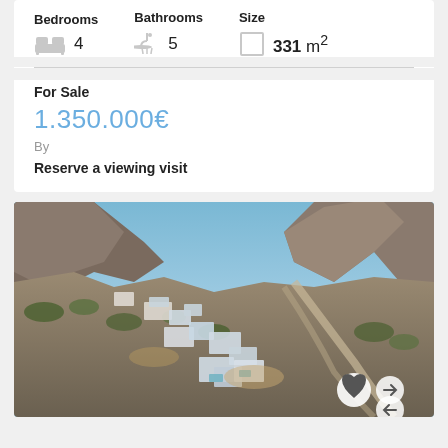Bedrooms 4 | Bathrooms 5 | Size 331 m²
For Sale
1.350.000€
By
Reserve a viewing visit
[Figure (photo): Aerial view of modern villas built into a rocky hillside, with a large rocky mountain peak in the background, blue sky, winding road, Mediterranean landscape with sparse vegetation.]